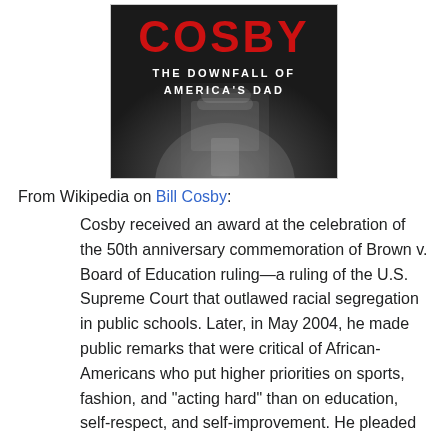[Figure (illustration): Book cover for 'Cosby: The Downfall of America's Dad' showing an elderly man in a white shirt with a dark background]
From Wikipedia on Bill Cosby:
Cosby received an award at the celebration of the 50th anniversary commemoration of Brown v. Board of Education ruling—a ruling of the U.S. Supreme Court that outlawed racial segregation in public schools. Later, in May 2004, he made public remarks that were critical of African-Americans who put higher priorities on sports, fashion, and "acting hard" than on education, self-respect, and self-improvement. He pleaded